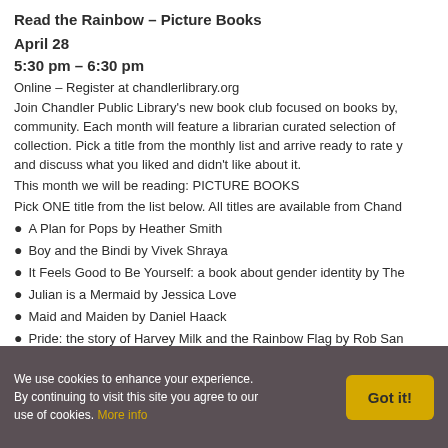Read the Rainbow – Picture Books
April 28
5:30 pm – 6:30 pm
Online – Register at chandlerlibrary.org
Join Chandler Public Library's new book club focused on books by, community. Each month will feature a librarian curated selection of collection. Pick a title from the monthly list and arrive ready to rate y and discuss what you liked and didn't like about it.
This month we will be reading: PICTURE BOOKS
Pick ONE title from the list below. All titles are available from Chand
A Plan for Pops by Heather Smith
Boy and the Bindi by Vivek Shraya
It Feels Good to Be Yourself: a book about gender identity by The
Julian is a Mermaid by Jessica Love
Maid and Maiden by Daniel Haack
Pride: the story of Harvey Milk and the Rainbow Flag by Rob San
We use cookies to enhance your experience. By continuing to visit this site you agree to our use of cookies. More info